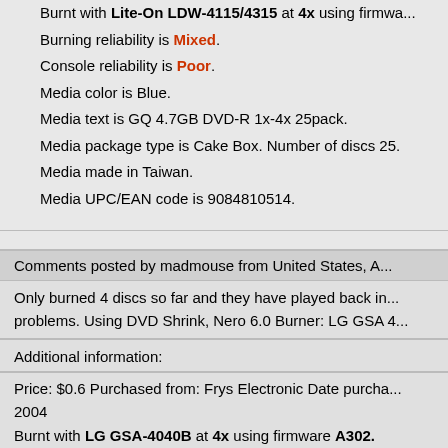Burnt with Lite-On LDW-4115/4315 at 4x using firmwa...
Burning reliability is Mixed.
Console reliability is Poor.
Media color is Blue.
Media text is GQ 4.7GB DVD-R 1x-4x 25pack.
Media package type is Cake Box. Number of discs 25.
Media made in Taiwan.
Media UPC/EAN code is 9084810514.
Comments posted by madmouse from United States, A...
Only burned 4 discs so far and they have played back in... problems. Using DVD Shrink, Nero 6.0 Burner: LG GSA 4...
Additional information:
Price: $0.6 Purchased from: Frys Electronic Date purcha... 2004
Burnt with LG GSA-4040B at 4x using firmware A302.